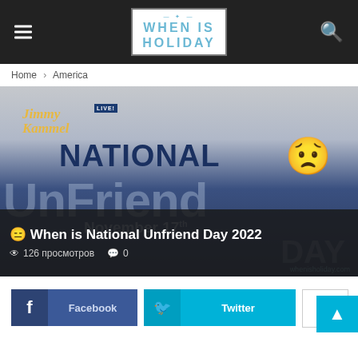When Is Holiday — navigation bar with hamburger menu and search icon
Home › America
[Figure (photo): Jimmy Kimmel Live! branded National Unfriend Day 2022 promotional image showing 'NATIONAL 😟 UnFriend Day' text with November 17th date and whenisholiday.com watermark]
😑 When is National Unfriend Day 2022
👁 126 просмотров  💬 0
f Facebook   🐦 Twitter   +